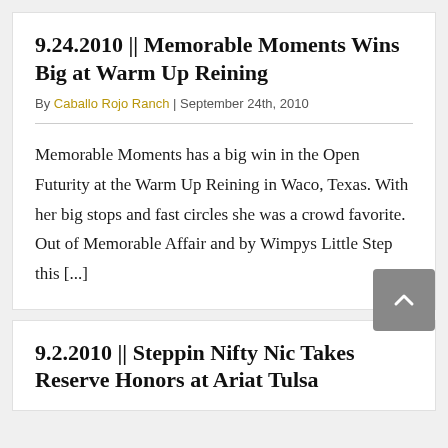9.24.2010 || Memorable Moments Wins Big at Warm Up Reining
By Caballo Rojo Ranch | September 24th, 2010
Memorable Moments has a big win in the Open Futurity at the Warm Up Reining in Waco, Texas. With her big stops and fast circles she was a crowd favorite. Out of Memorable Affair and by Wimpys Little Step this [...]
9.2.2010 || Steppin Nifty Nic Takes Reserve Honors at Ariat Tulsa